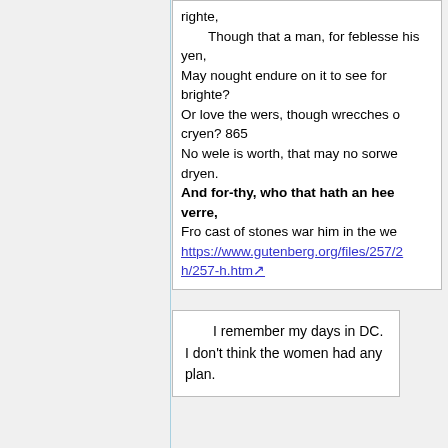righte,
    Though that a man, for feblesse his yen,
May nought endure on it to see for brighte?
Or love the wers, though wrecches on it cryen? 865
No wele is worth, that may no sorwe dryen.
And for-thy, who that hath an heed of verre,
Fro cast of stones war him in the wer
https://www.gutenberg.org/files/257/2h/257-h.htm
I remember my days in DC. I don't think the women had any plan.